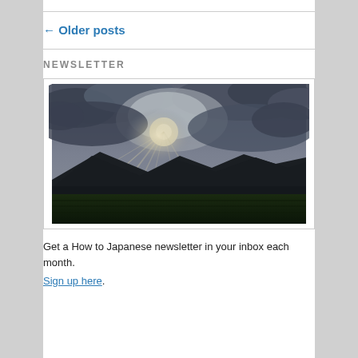← Older posts
NEWSLETTER
[Figure (photo): Landscape photograph showing a dramatic sky with sun rays breaking through dark storm clouds above silhouetted mountains and dark green fields in the foreground.]
Get a How to Japanese newsletter in your inbox each month.
Sign up here.